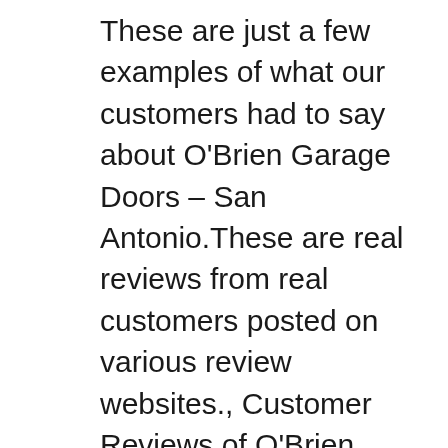These are just a few examples of what our customers had to say about O'Brien Garage Doors – San Antonio.These are real reviews from real customers posted on various review websites., Customer Reviews of O'Brien Garage Doors – Houston. These are just a few examples of what our customers had to say about O'Brien Garage Doors – Houston.These are real reviews from real customers posted on various review websites..
Contact O'Brien Garage Doors In Baltimore. Have a question or need a quote? We would love to hear from you. Please send us a message using the form below or give us a call at (410) 941-0889 to speak with someone over